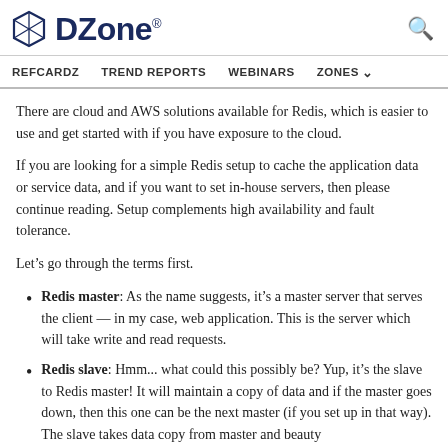DZone. [search icon]
REFCARDZ   TREND REPORTS   WEBINARS   ZONES
There are cloud and AWS solutions available for Redis, which is easier to use and get started with if you have exposure to the cloud.
If you are looking for a simple Redis setup to cache the application data or service data, and if you want to set in-house servers, then please continue reading. Setup complements high availability and fault tolerance.
Let’s go through the terms first.
Redis master: As the name suggests, it's a master server that serves the client — in my case, web application. This is the server which will take write and read requests.
Redis slave: Hmm... what could this possibly be? Yup, it's the slave to Redis master! It will maintain a copy of data and if the master goes down, then this one can be the next master (if you set up in that way). The slave takes data copy from master and beauty